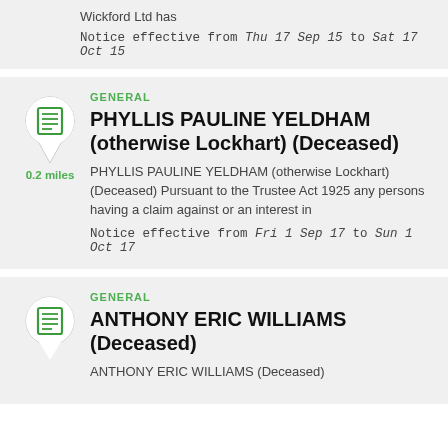Wickford Ltd has
Notice effective from Thu 17 Sep 15 to Sat 17 Oct 15
GENERAL
PHYLLIS PAULINE YELDHAM (otherwise Lockhart) (Deceased)
PHYLLIS PAULINE YELDHAM (otherwise Lockhart) (Deceased) Pursuant to the Trustee Act 1925 any persons having a claim against or an interest in
Notice effective from Fri 1 Sep 17 to Sun 1 Oct 17
GENERAL
ANTHONY ERIC WILLIAMS (Deceased)
ANTHONY ERIC WILLIAMS (Deceased)